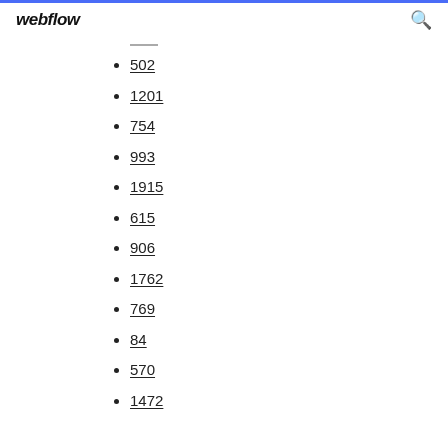webflow
502
1201
754
993
1915
615
906
1762
769
84
570
1472